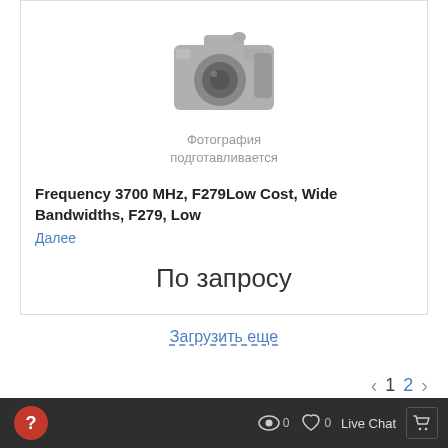[Figure (photo): Camera placeholder image showing a DSLR camera in gray tones with text 'Фотография подготавливается' (Photo being prepared)]
Frequency 3700 MHz, F279Low Cost, Wide Bandwidths, F279, Low
Далее
По запросу
Загрузить еще
1  2
? | 👁 0 | ♡ 0 | Live Chat | 🛒